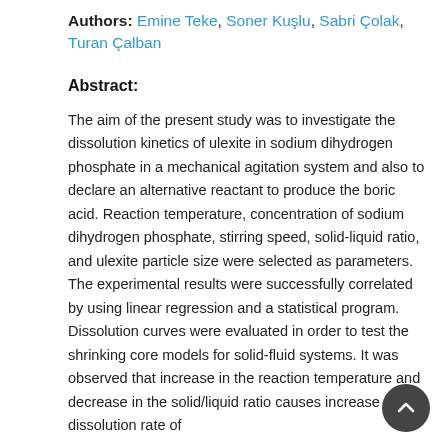Authors: Emine Teke, Soner Kuşlu, Sabri Çolak, Turan Çalban
Abstract:
The aim of the present study was to investigate the dissolution kinetics of ulexite in sodium dihydrogen phosphate in a mechanical agitation system and also to declare an alternative reactant to produce the boric acid. Reaction temperature, concentration of sodium dihydrogen phosphate, stirring speed, solid-liquid ratio, and ulexite particle size were selected as parameters. The experimental results were successfully correlated by using linear regression and a statistical program. Dissolution curves were evaluated in order to test the shrinking core models for solid-fluid systems. It was observed that increase in the reaction temperature and decrease in the solid/liquid ratio causes increase in the dissolution rate of...